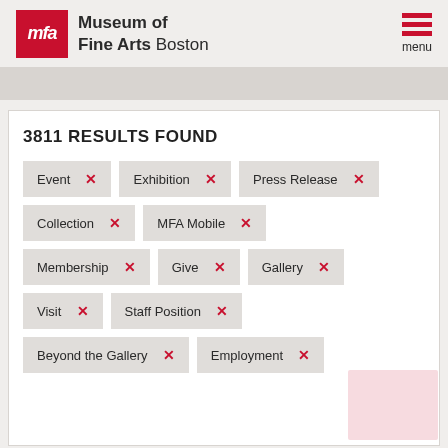[Figure (logo): Museum of Fine Arts Boston logo with red MFA square and text]
3811 RESULTS FOUND
Event ×
Exhibition ×
Press Release ×
Collection ×
MFA Mobile ×
Membership ×
Give ×
Gallery ×
Visit ×
Staff Position ×
Beyond the Gallery ×
Employment ×